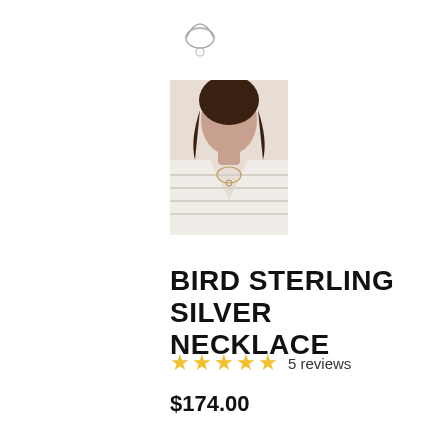[Figure (photo): Small product thumbnail image of necklace at top]
[Figure (photo): Photo of a woman wearing the bird sterling silver necklace, white shirt, dark hair]
BIRD STERLING SILVER NECKLACE
5 reviews
$174.00
The body of this tiny bird was taken from a spoon bowl and the wings were taken from the handles of demitasse spoons from the early 1900s.
Length: 18, 20" adjustable